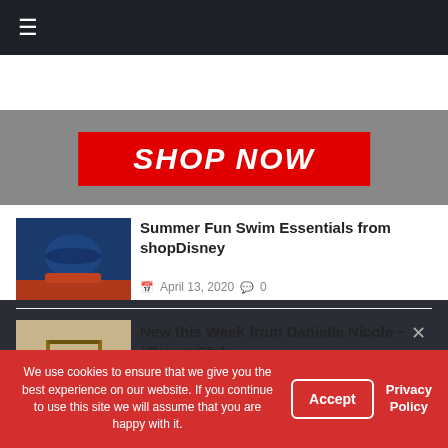[Figure (screenshot): Navigation bar with hamburger menu icon on dark background]
[Figure (screenshot): Red SHOP NOW banner button over gray background image]
Read Next
[Figure (photo): Disney swimsuit product photo - navy blue with red trim]
Summer Fun Swim Essentials from shopDisney
April 13, 2020  0
[Figure (photo): Product photo - toy scene with figures on swing]
New this Week from Danielle Nicole ~ #DisneyStyle
We use cookies to ensure that we give you the best experience on our website. If you continue to use this site we will assume that you are happy with it.